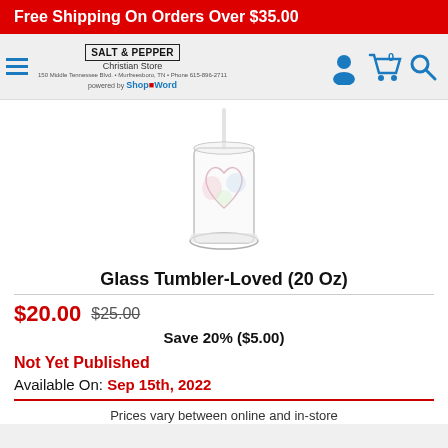Free Shipping On Orders Over $35.00
[Figure (logo): Salt & Pepper Christian Store logo with navigation icons]
[Figure (photo): Glass Tumbler-Loved (20 Oz) product photo — clear glass tumbler with straw and heart design]
Glass Tumbler-Loved (20 Oz)
$20.00  $25.00  Save 20% ($5.00)
Not Yet Published
Available On: Sep 15th, 2022
Prices vary between online and in-store